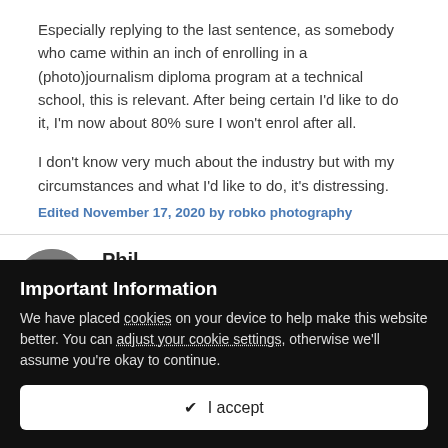Especially replying to the last sentence, as somebody who came within an inch of enrolling in a (photo)journalism diploma program at a technical school, this is relevant. After being certain I'd like to do it, I'm now about 80% sure I won't enrol after all.
I don't know very much about the industry but with my circumstances and what I'd like to do, it's distressing.
Edited November 17, 2020 by robko photography
Phil
Posted November 17, 2020
Important Information
We have placed cookies on your device to help make this website better. You can adjust your cookie settings, otherwise we'll assume you're okay to continue.
✔ I accept